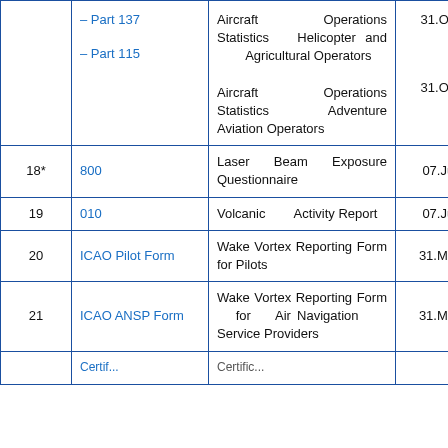| # | Form | Description | Date |
| --- | --- | --- | --- |
|  | – Part 137
– Part 115 | Aircraft Operations Statistics Helicopter and Agricultural Operators

Aircraft Operations Statistics Adventure Aviation Operators | 31.Oct.2018
31.Oct.2018 |
| 18* | 800 | Laser Beam Exposure Questionnaire | 07.Jul.2022 |
| 19 | 010 | Volcanic Activity Report | 07.Jul.2022 |
| 20 | ICAO Pilot Form | Wake Vortex Reporting Form for Pilots | 31.May.2016 |
| 21 | ICAO ANSP Form | Wake Vortex Reporting Form for Air Navigation Service Providers | 31.May.2016 |